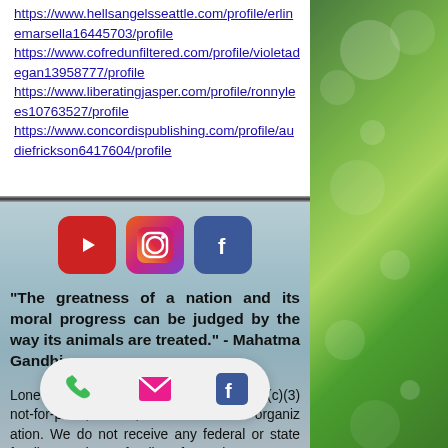https://www.hellsangelsseattle.com/profile/erlinemarsella16445703/profile
https://www.cofredunfiltered.com/profile/violetadegan13958777/profile
https://www.liberatingjasper.com/profile/ronnylees10763527/profile
https://www.concordispublishing.com/profile/audiefrickson6417604/profile
[Figure (logo): Social media icons row: YouTube (red), Instagram (gradient pink/purple), Facebook (blue)]
“The greatness of a nation and its moral progress can be judged by the way its animals are treated.” - Mahatma Gandhi
Lone Star Sanctuary for Animals is a 501(c)(3) not-for-profit, no-kill, animal welfare organization. We do not receive any federal or state funding and no funding from the Humane Society of the
[Figure (infographic): Contact bar overlay with phone icon (green), email icon (pink), and Facebook icon (blue) on a light rounded pill-shaped background]